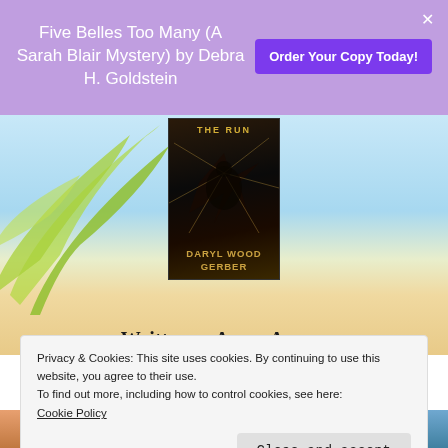Five Belles Too Many (A Sarah Blair Mystery) by Debra H. Goldstein
[Figure (screenshot): Purple promotional banner with book title and Order Your Copy Today button]
[Figure (photo): Beach background with palm leaves and blue sky]
[Figure (photo): Book cover: ON THE RUN by Daryl Wood Gerber - dark horse silhouette through cracked surface]
Written as Avery Aames
Privacy & Cookies: This site uses cookies. By continuing to use this website, you agree to their use.
To find out more, including how to control cookies, see here:
Cookie Policy
[Figure (photo): Four Avery Aames book covers shown at bottom strip]